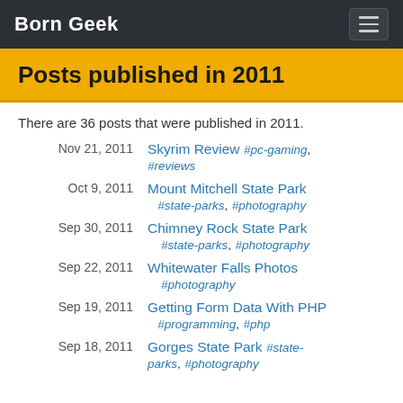Born Geek
Posts published in 2011
There are 36 posts that were published in 2011.
Nov 21, 2011 — Skyrim Review #pc-gaming, #reviews
Oct 9, 2011 — Mount Mitchell State Park #state-parks, #photography
Sep 30, 2011 — Chimney Rock State Park #state-parks, #photography
Sep 22, 2011 — Whitewater Falls Photos #photography
Sep 19, 2011 — Getting Form Data With PHP #programming, #php
Sep 18, 2011 — Gorges State Park #state-parks, #photography